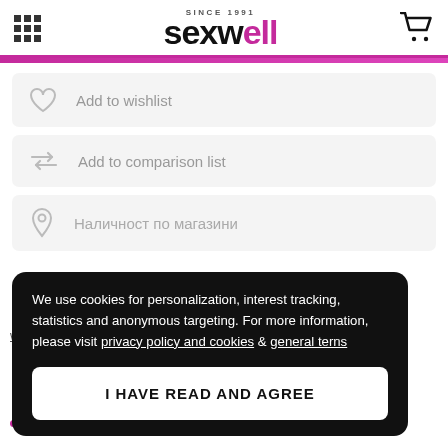sexwell SINCE 1991
Add to wishlist
Add to comparison list
Наличност по магазини
write
[Figure (other): Pink female gender symbol icon]
We use cookies for personalization, interest tracking, statistics and anonymous targeting. For more information, please visit privacy policy and cookies & general terns
I HAVE READ AND AGREE
L...